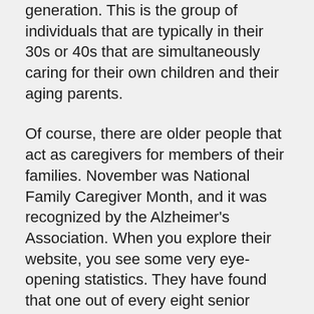generation. This is the group of individuals that are typically in their 30s or 40s that are simultaneously caring for their own children and their aging parents.
Of course, there are older people that act as caregivers for members of their families. November was National Family Caregiver Month, and it was recognized by the Alzheimer's Association. When you explore their website, you see some very eye-opening statistics. They have found that one out of every eight senior citizens has contracted Alzheimer's disease, and the number goes up to four out of 10 when you are looking at people that are at least 85 years of age.
If you are interested in getting involved in the struggle against Alzheimer's, or if you need